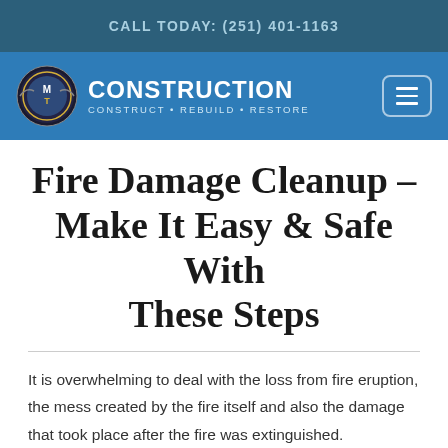CALL TODAY: (251) 401-1163
[Figure (logo): MT Construction logo with circular gear emblem and text: CONSTRUCTION CONSTRUCT • REBUILD • RESTORE]
Fire Damage Cleanup – Make It Easy & Safe With These Steps
It is overwhelming to deal with the loss from fire eruption, the mess created by the fire itself and also the damage that took place after the fire was extinguished. Sometimes, irreplaceable contents are also adversely affected; dealing with this whole